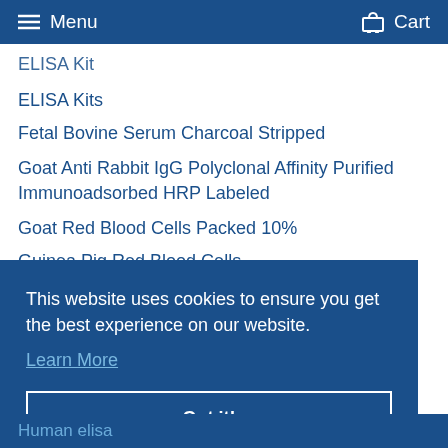Menu   Cart
ELISA Kit
ELISA Kits
Fetal Bovine Serum Charcoal Stripped
Goat Anti Rabbit IgG Polyclonal Affinity Purified Immunoadsorbed HRP Labeled
Goat Red Blood Cells Packed 10%
Guinea Pig Red Blood Cells
This website uses cookies to ensure you get the best experience on our website.
Learn More
Got it!
Human elisa